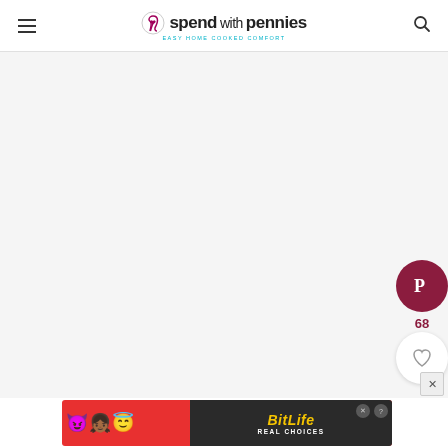spend with pennies — Easy Home Cooked Comfort
[Figure (screenshot): Large blank/white content area placeholder]
[Figure (other): Pinterest share button (dark red circle with P icon) with count 68]
[Figure (other): Heart/save button (white circle with heart icon)]
[Figure (other): BitLife Real Choices advertisement banner with emoji characters on red background]